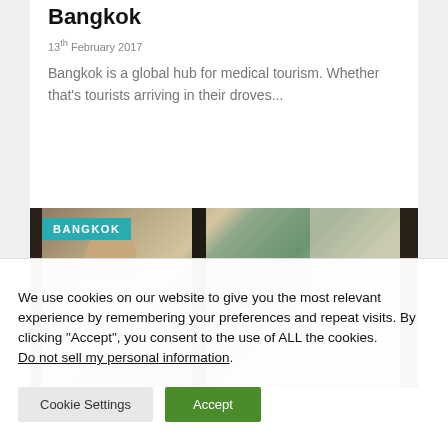Bangkok
13th February 2017
Bangkok is a global hub for medical tourism. Whether that's tourists arriving in their droves...
[Figure (photo): Photo of a massage or spa scene in Bangkok, with a Thai woman attending to a client, curtains and pillars visible in the background. A teal 'BANGKOK' badge overlays the top-left of the image.]
We use cookies on our website to give you the most relevant experience by remembering your preferences and repeat visits. By clicking "Accept", you consent to the use of ALL the cookies. Do not sell my personal information.
Cookie Settings
Accept